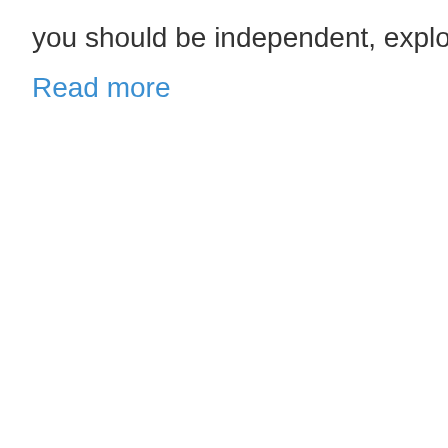you should be independent, explore ...
Read more